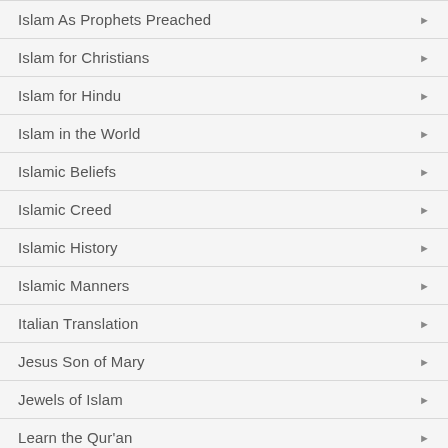Islam As Prophets Preached
Islam for Christians
Islam for Hindu
Islam in the World
Islamic Beliefs
Islamic Creed
Islamic History
Islamic Manners
Italian Translation
Jesus Son of Mary
Jewels of Islam
Learn the Qur'an